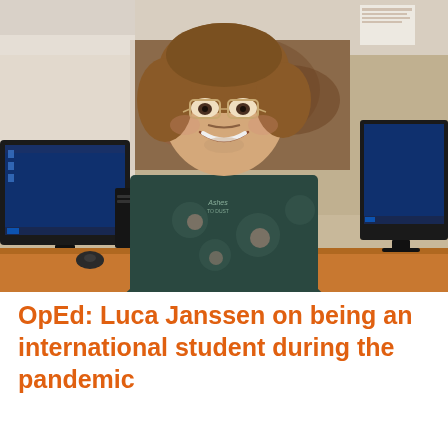[Figure (photo): A young man with brown wavy hair and glasses, smiling, wearing a dark floral t-shirt. He is seated in front of computer monitors showing Windows desktops, with a wooden desk surface visible. Office environment with papers on wall behind him.]
OpEd: Luca Janssen on being an international student during the pandemic